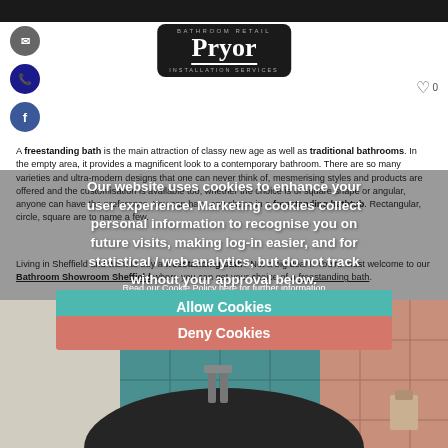[Figure (screenshot): Pryor Bathroom Retail logo in white on dark background with INSTALLATION SERVICES text below]
A freestanding bath is the main attraction of classy new age as well as traditional bathrooms. In the empty area, it provides a magnificent look to a contemporary bathroom. There are so many varieties and ultra-modern designs that one can never think of, mesmerising styles and products are offered and the customisation is available too, whether the choice is of square shape or angular, anyone can have the preference. You can have any shape in a freestanding bathtub. Rectangular, circle, square are to name a few.
Living in Sheffield and want to buy a freestanding bath? Not a big deal !! You're most welcome to our Bathroom Showroom Sheffield where you can get your choice of a freestanding bath.
Our website uses cookies to enhance your user experience. Marketing cookies collect personal information to recognise you on future visits, making log-in easier, and for statistical / web analytics, but do not track without your approval below.
Read our Cookie Policy here for further information
Allow Cookies
Deny Cookies
[Figure (photo): Dark oval freestanding bath with wall tiles in teal and peach/salmon colors, bathroom setting]